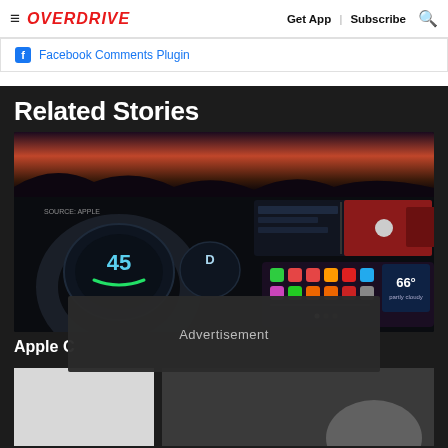≡ OVERDRIVE  |  Get App  |  Subscribe  🔍
Facebook Comments Plugin
Related Stories
[Figure (photo): Dark car interior dashboard with Apple CarPlay display showing app icons, weather 66°, and instrument cluster with speed 45 and D indicator. Source: Apple watermark visible.]
Apple C
Advertisement
[Figure (photo): Bottom strip showing two partially visible images related to a related story]